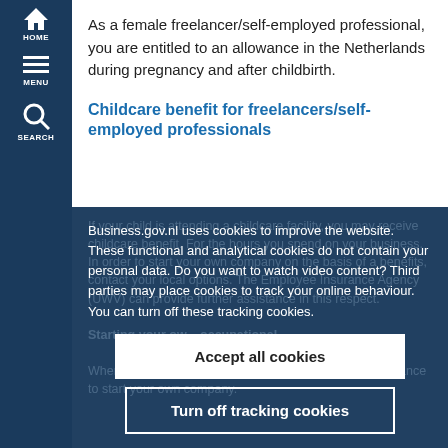As a female freelancer/self-employed professional, you are entitled to an allowance in the Netherlands during pregnancy and after childbirth.
Childcare benefit for freelancers/self-employed professionals
Business.gov.nl uses cookies to improve the website. These functional and analytical cookies do not contain your personal data. Do you want to watch video content? Third parties may place cookies to track your online behaviour. You can turn off these tracking cookies.
Accept all cookies
Turn off tracking cookies